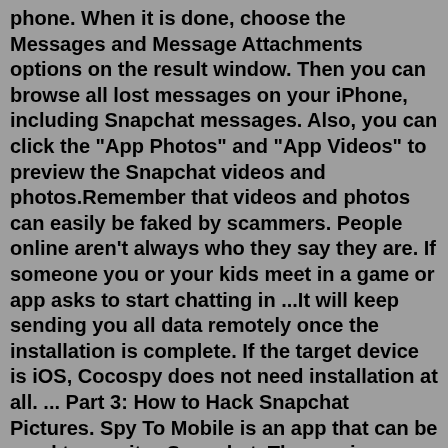phone. When it is done, choose the Messages and Message Attachments options on the result window. Then you can browse all lost messages on your iPhone, including Snapchat messages. Also, you can click the "App Photos" and "App Videos" to preview the Snapchat videos and photos.Remember that videos and photos can easily be faked by scammers. People online aren't always who they say they are. If someone you or your kids meet in a game or app asks to start chatting in ...It will keep sending you all data remotely once the installation is complete. If the target device is iOS, Cocospy does not need installation at all. ... Part 3: How to Hack Snapchat Pictures. Spy To Mobile is an app that can be used to monitor Snapchat. The app is a mobile aggregator that collects data from multiple phones in one account ...Premium Snapchat is a surprisingly popular way for anyone to make money with explicit photos and videos. Take a photo or a video, sell it to subscribers on Snapchat, pay for anything. I mean, people are